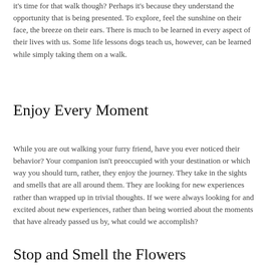it's time for that walk though? Perhaps it's because they understand the opportunity that is being presented. To explore, feel the sunshine on their face, the breeze on their ears. There is much to be learned in every aspect of their lives with us. Some life lessons dogs teach us, however, can be learned while simply taking them on a walk.
Enjoy Every Moment
While you are out walking your furry friend, have you ever noticed their behavior? Your companion isn't preoccupied with your destination or which way you should turn, rather, they enjoy the journey. They take in the sights and smells that are all around them. They are looking for new experiences rather than wrapped up in trivial thoughts. If we were always looking for and excited about new experiences, rather than being worried about the moments that have already passed us by, what could we accomplish?
Stop and Smell the Flowers